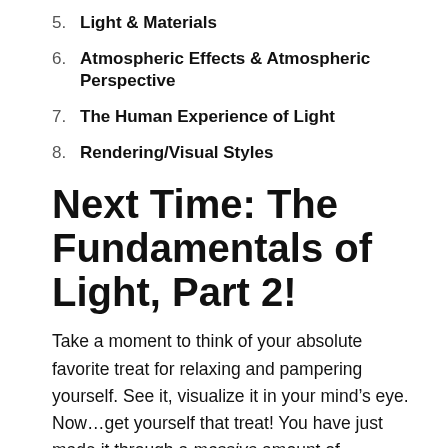5. Light & Materials
6. Atmospheric Effects & Atmospheric Perspective
7. The Human Experience of Light
8. Rendering/Visual Styles
Next Time: The Fundamentals of Light, Part 2!
Take a moment to think of your absolute favorite treat for relaxing and pampering yourself. See it, visualize it in your mind’s eye. Now…get yourself that treat! You have just made it through a massive amount of information in a relatively short(ish) amount